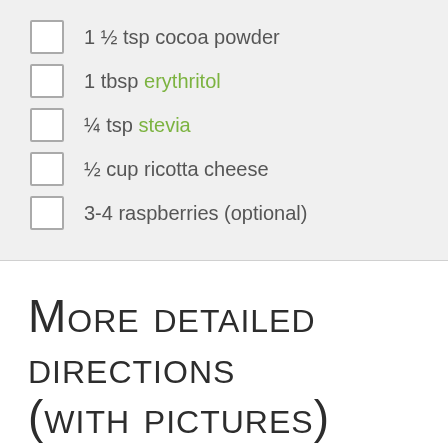1 ½ tsp cocoa powder
1 tbsp erythritol
¼ tsp stevia
½ cup ricotta cheese
3-4 raspberries (optional)
More detailed directions (with pictures)